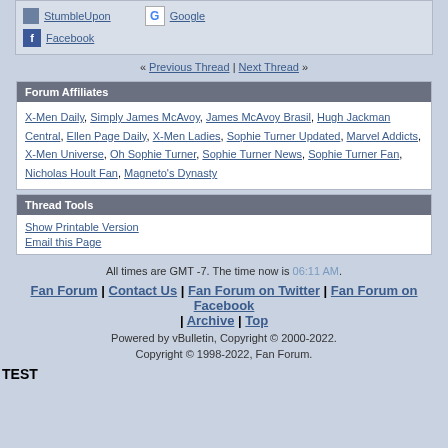StumbleUpon | del.icio.us | Google | Facebook
« Previous Thread | Next Thread »
Forum Affiliates
X-Men Daily, Simply James McAvoy, James McAvoy Brasil, Hugh Jackman Central, Ellen Page Daily, X-Men Ladies, Sophie Turner Updated, Marvel Addicts, X-Men Universe, Oh Sophie Turner, Sophie Turner News, Sophie Turner Fan, Nicholas Hoult Fan, Magneto's Dynasty
Thread Tools
Show Printable Version
Email this Page
All times are GMT -7. The time now is 06:11 AM.
Fan Forum | Contact Us | Fan Forum on Twitter | Fan Forum on Facebook | Archive | Top
Powered by vBulletin, Copyright © 2000-2022.
Copyright © 1998-2022, Fan Forum.
TEST